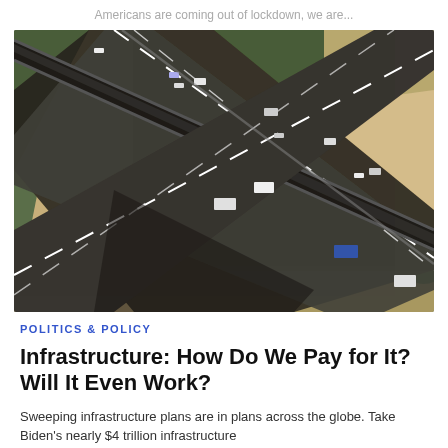Americans are coming out of lockdown, we are...
[Figure (photo): Aerial view of a multi-level highway interchange with cars and trucks on dark asphalt roads, surrounded by trees and sandy terrain]
POLITICS & POLICY
Infrastructure: How Do We Pay for It? Will It Even Work?
Sweeping infrastructure plans are in plans across the globe. Take Biden's nearly $4 trillion infrastructure